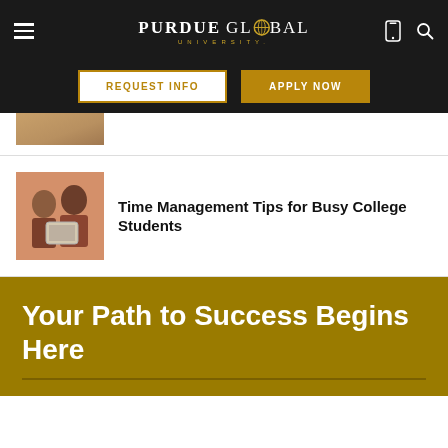Purdue Global University — Navigation bar with REQUEST INFO and APPLY NOW buttons
[Figure (photo): Partial cropped photo of students studying, top portion visible]
[Figure (photo): Two female students smiling and looking at a tablet together]
Time Management Tips for Busy College Students
Your Path to Success Begins Here